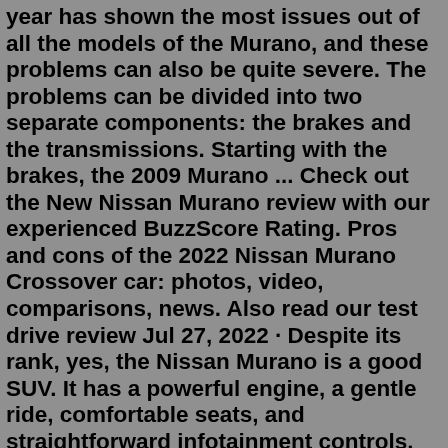year has shown the most issues out of all the models of the Murano, and these problems can also be quite severe. The problems can be divided into two separate components: the brakes and the transmissions. Starting with the brakes, the 2009 Murano ... Check out the New Nissan Murano review with our experienced BuzzScore Rating. Pros and cons of the 2022 Nissan Murano Crossover car: photos, video, comparisons, news. Also read our test drive review Jul 27, 2022 · Despite its rank, yes, the Nissan Murano is a good SUV. It has a powerful engine, a gentle ride, comfortable seats, and straightforward infotainment controls. The Nissan gets good fuel economy... The 2022 Nissan Murano did well in the National Highway Traffic Safety Administration's crash tests, earning the top overall five-star rating. It also received the top Good rating from the Insurance Institute for Highway Safety ( IIHS ), earning it a Top Safety Pick+ designation. 7.5/10. #9 in Midsize SUVs | Rankings. The Murano reaches for luxury but disappoints as a complete package. Although it's